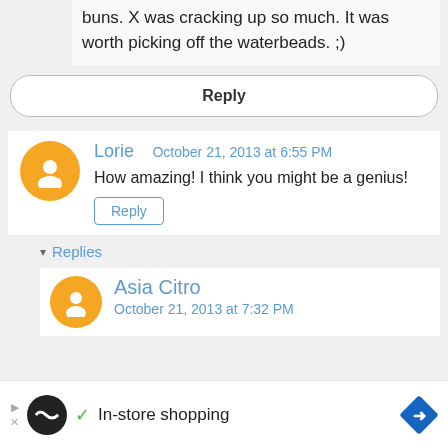buns. X was cracking up so much. It was worth picking off the waterbeads. ;)
Reply
Lorie  October 21, 2013 at 6:55 PM
How amazing! I think you might be a genius!
Reply
▾ Replies
Asia Citro
October 21, 2013 at 7:32 PM
In-store shopping